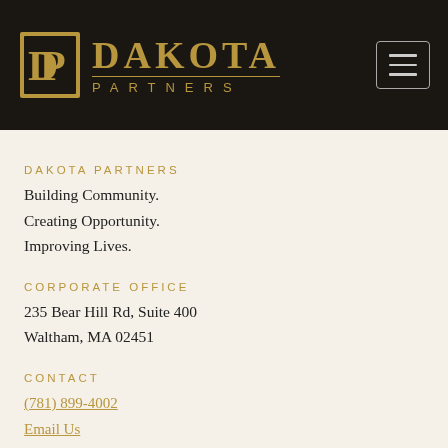[Figure (logo): Dakota Partners logo with gold DP monogram in a square and text DAKOTA PARTNERS on dark background header, with hamburger menu icon on the right]
DAKOTA PARTNERS
Building Community.
Creating Opportunity.
Improving Lives.
CORPORATE OFFICE
235 Bear Hill Rd, Suite 400
Waltham, MA 02451
CONTACT
(781) 899-4002
Email Us
Facebook | LinkedIn | Sign Up for e-newsletter
[Figure (logo): Accessibility (wheelchair) icon and Equal Housing Opportunity logo]